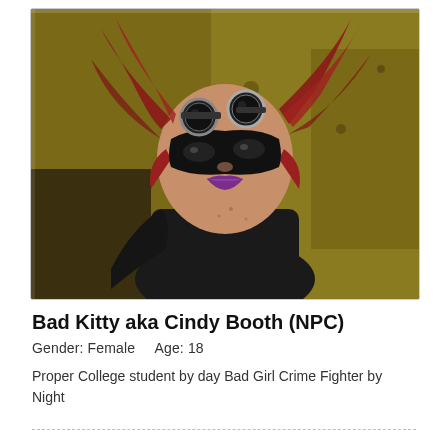[Figure (photo): A woman in a steampunk/superhero costume with red hair in pigtails, wearing a black cat-eye mask with goggles on top, purple lipstick, black choker, and black clothing, photographed against a yellow-green industrial background.]
Bad Kitty aka Cindy Booth (NPC)
Gender: Female    Age: 18
Proper College student by day Bad Girl Crime Fighter by Night